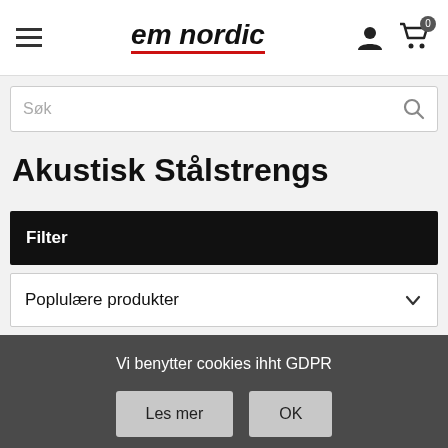em nordic
Søk
Akustisk Stålstrengs
Filter
Poplulære produkter
Vi benytter cookies ihht GDPR
Les mer
OK